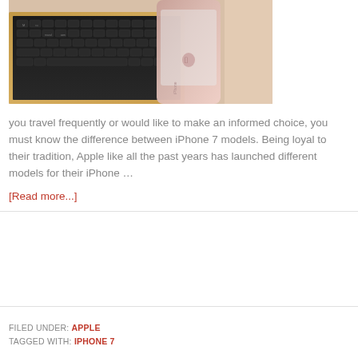[Figure (photo): iPhone next to a MacBook keyboard, rose gold iPhone lying on gold MacBook]
you travel frequently or would like to make an informed choice, you must know the difference between iPhone 7 models. Being loyal to their tradition, Apple like all the past years has launched different models for their iPhone …
[Read more...]
FILED UNDER: APPLE
TAGGED WITH: IPHONE 7